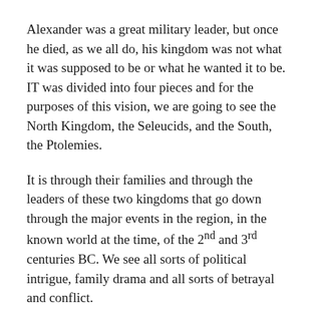Alexander was a great military leader, but once he died, as we all do, his kingdom was not what it was supposed to be or what he wanted it to be. IT was divided into four pieces and for the purposes of this vision, we are going to see the North Kingdom, the Seleucids, and the South, the Ptolemies.
It is through their families and through the leaders of these two kingdoms that go down through the major events in the region, in the known world at the time, of the 2nd and 3rd centuries BC. We see all sorts of political intrigue, family drama and all sorts of betrayal and conflict.